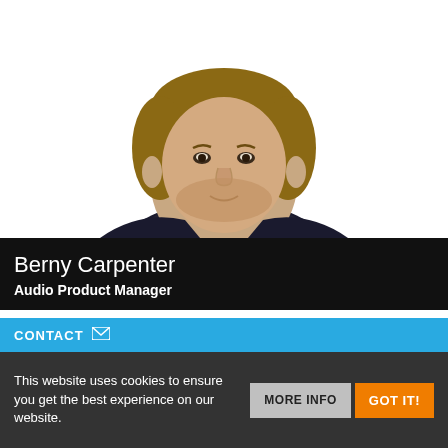[Figure (photo): Headshot photo of a young man with light stubble, smiling slightly, wearing a dark jacket and grey top, photographed against a white background]
Berny Carpenter
Audio Product Manager
CONTACT
This website uses cookies to ensure you get the best experience on our website.